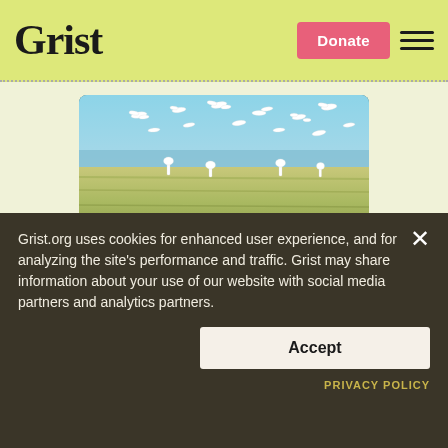Grist | Donate
[Figure (photo): Advertisement banner showing birds flying over a wetland marsh with blue sky. Orange background panel with text: Solutions for a healthy environment start in the South. FIND OUT HOW button.]
Grist.org uses cookies for enhanced user experience, and for analyzing the site's performance and traffic. Grist may share information about your use of our website with social media partners and analytics partners.
Accept
PRIVACY POLICY